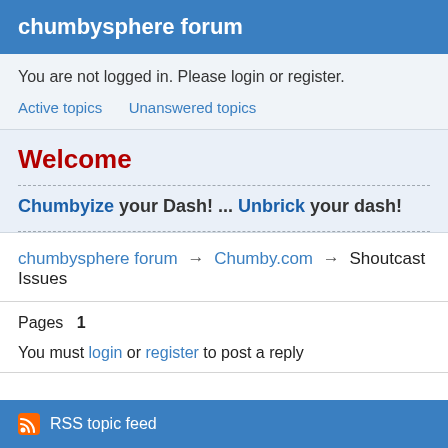chumbysphere forum
You are not logged in. Please login or register.
Active topics   Unanswered topics
Welcome
Chumbyize your Dash! ... Unbrick your dash!
chumbysphere forum → Chumby.com → Shoutcast Issues
Pages   1
You must login or register to post a reply
RSS topic feed